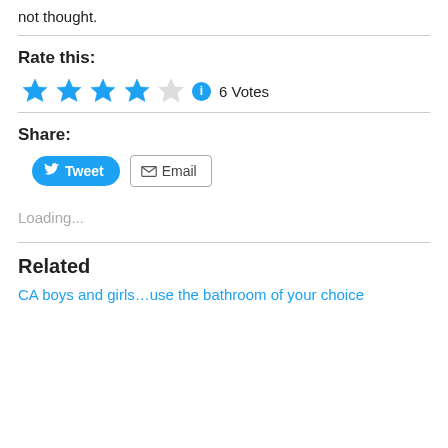not thought.
Rate this:
[Figure (other): 4 filled blue stars and 1 empty star, plus an info icon, showing rating of 4/5 with 6 Votes]
Share:
[Figure (other): Tweet button (blue, rounded) and Email button (white, bordered)]
Loading...
Related
CA boys and girls…use the bathroom of your choice